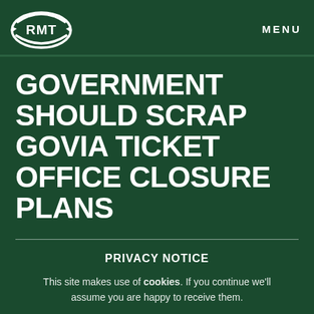RMT | MENU
GOVERNMENT SHOULD SCRAP GOVIA TICKET OFFICE CLOSURE PLANS
PRIVACY NOTICE
This site makes use of cookies. If you continue we'll assume you are happy to receive them.
Continue | Read our cookie policy